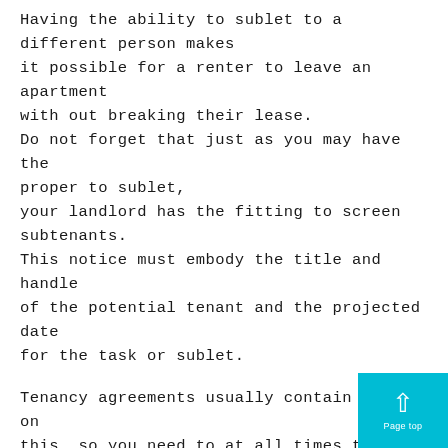Having the ability to sublet to a different person makes it possible for a renter to leave an apartment with out breaking their lease. Do not forget that just as you may have the proper to sublet, your landlord has the fitting to screen subtenants. This notice must embody the title and handle of the potential tenant and the projected date for the task or sublet.
Tenancy agreements usually contain a term on this, so you need to at all times test your settlement first.
It’s best to sign a contract with the sub– you should buy a regular lease form and fill it out as in case you are the owner and